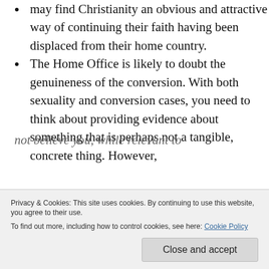may find Christianity an obvious and attractive way of continuing their faith having been displaced from their home country.
The Home Office is likely to doubt the genuineness of the conversion. With both sexuality and conversion cases, you need to think about providing evidence about something that is perhaps not a tangible, concrete thing. However,
not believe you, while relevant to
Privacy & Cookies: This site uses cookies. By continuing to use this website, you agree to their use. To find out more, including how to control cookies, see here: Cookie Policy